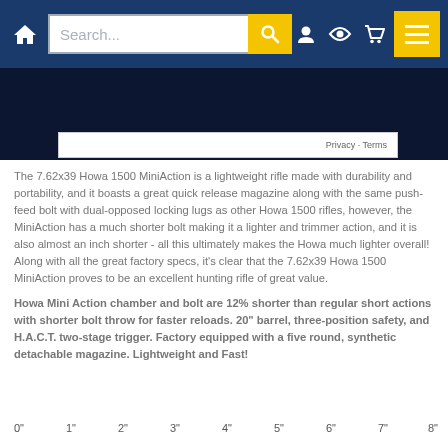Search... [search bar] [home icon] [user icon] [eye icon] [cart icon] [menu icon]
[Figure (screenshot): Dark navy blue image area with a white privacy/terms bar overlay showing 'Privacy · Terms' text]
The 7.62x39 Howa 1500 MiniAction is a lightweight rifle made with durability and portability, and it boasts a great quick release magazine along with the same push-feed bolt with dual-opposed locking lugs as other Howa 1500 rifles, however, the MiniAction has a much shorter bolt making it a lighter and trimmer action, and it is also almost an inch shorter - all this ultimately makes the Howa much lighter overall! Along with all the great factory specs, it's clear that the 7.62x39 Howa 1500 MiniAction proves to be an excellent hunting rifle of great value.
Howa Mini Action chamber and bolt are 12% shorter than regular short actions with shorter bolt throw for faster reloads. 20" barrel, three-position safety, and H.A.C.T. two-stage trigger. Factory equipped with a five round, synthetic detachable magazine. Lightweight and Fast!
[Figure (other): Ruler measurement scale showing inch markings from 0" to 8"]